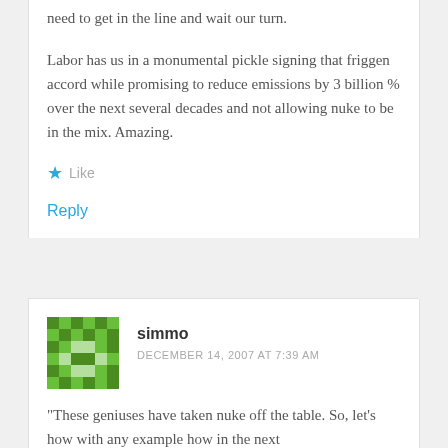need to get in the line and wait our turn.
Labor has us in a monumental pickle signing that friggen accord while promising to reduce emissions by 3 billion % over the next several decades and not allowing nuke to be in the mix. Amazing.
Like
Reply
simmo
DECEMBER 14, 2007 AT 7:39 AM
"These geniuses have taken nuke off the table. So, let's how with any example how in the next...